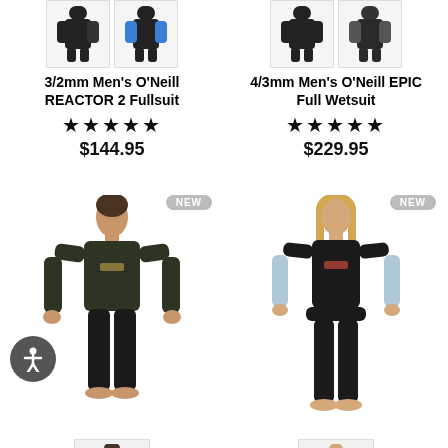[Figure (photo): Thumbnail images of 3/2mm Men's O'Neill REACTOR 2 Fullsuit in two color variants, shown at top left]
3/2mm Men's O'Neill REACTOR 2 Fullsuit
★★★★★
$144.95
[Figure (photo): Thumbnail images of 4/3mm Men's O'Neill EPIC Full Wetsuit in two color variants, shown at top right]
4/3mm Men's O'Neill EPIC Full Wetsuit
★★★★★
$229.95
[Figure (photo): Man wearing dark olive/black Billabong fullsuit wetsuit, standing front-facing. NEW badge shown.]
[Figure (photo): Woman wearing black and light blue Billabong fullsuit wetsuit, standing front-facing. NEW badge shown.]
[Figure (photo): Thumbnail of man in dark wetsuit at bottom left]
[Figure (photo): Thumbnail of woman in black/blue wetsuit at bottom right]